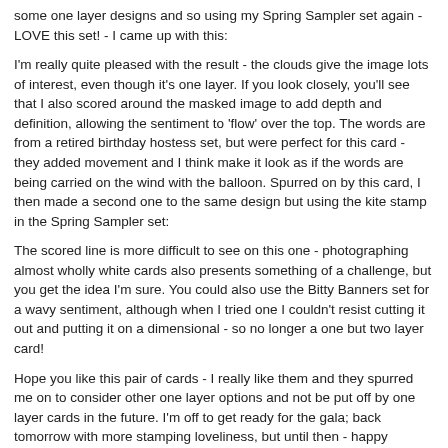some one layer designs and so using my Spring Sampler set again - LOVE this set! - I came up with this:
I'm really quite pleased with the result - the clouds give the image lots of interest, even though it's one layer. If you look closely, you'll see that I also scored around the masked image to add depth and definition, allowing the sentiment to 'flow' over the top. The words are from a retired birthday hostess set, but were perfect for this card - they added movement and I think make it look as if the words are being carried on the wind with the balloon. Spurred on by this card, I then made a second one to the same design but using the kite stamp in the Spring Sampler set:
The scored line is more difficult to see on this one - photographing almost wholly white cards also presents something of a challenge, but you get the idea I'm sure. You could also use the Bitty Banners set for a wavy sentiment, although when I tried one I couldn't resist cutting it out and putting it on a dimensional - so no longer a one but two layer card!
Hope you like this pair of cards - I really like them and they spurred me on to consider other one layer options and not be put off by one layer cards in the future. I'm off to get ready for the gala; back tomorrow with more stamping loveliness, but until then - happy stampin'!